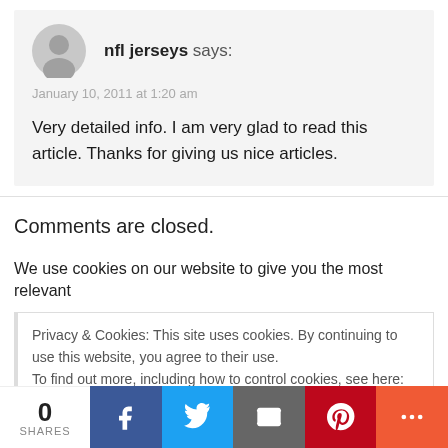[Figure (illustration): Gray circular avatar/user icon placeholder]
nfl jerseys says:
January 10, 2011 at 1:20 am
Very detailed info. I am very glad to read this article. Thanks for giving us nice articles.
Comments are closed.
We use cookies on our website to give you the most relevant
Privacy & Cookies: This site uses cookies. By continuing to use this website, you agree to their use.
To find out more, including how to control cookies, see here: Cookie Policy
0 SHARES